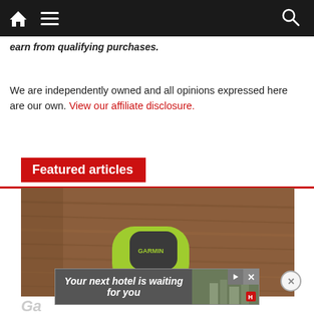Navigation bar with home, menu, and search icons
earn from qualifying purchases.
We are independently owned and all opinions expressed here are our own. View our affiliate disclosure.
Featured articles
[Figure (photo): A small lime-green Garmin running pod/clip device sitting on a wooden surface outdoors]
[Figure (screenshot): Ad banner reading 'Your next hotel is waiting for you' with play and close controls]
Ga